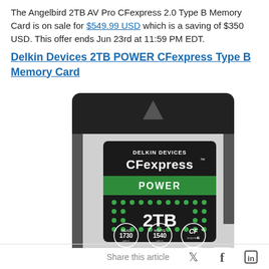The Angelbird 2TB AV Pro CFexpress 2.0 Type B Memory Card is on sale for $549.99 USD which is a saving of $350 USD. This offer ends Jun 23rd at 11:59 PM EDT.
Delkin Devices 2TB POWER CFexpress Type B Memory Card
[Figure (photo): Photo of a Delkin Devices CFexpress POWER 2TB memory card. The card is black and silver with the Delkin Devices and CFexpress logos. A green band shows 'POWER' text. The card shows '2TB' in large text, with READ 1730 MB/S and WRITE 1540 MB/S speed ratings in circular badges.]
Share this article